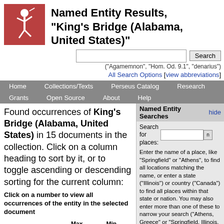[Figure (logo): Perseus Digital Library logo - running figure in white on red/brown background]
Named Entity Results, "King's Bridge (Alabama, United States)"
("Agamemnon", "Hom. Od. 9.1", "denarius")
All Search Options [view abbreviations]
Home   Collections/Texts   Perseus Catalog   Research   Grants   Open Source   About   Help
Found occurrences of King's Bridge (Alabama, United States) in 15 documents in the collection. Click on a column heading to sort by it, or to toggle ascending or descending sorting for the current column:
Click on a number to view all occurrences of the entity in the selected document
| Document | Max. Freq. ↑ | Min. Freq. ↑ |
| --- | --- | --- |
| Rebellion Record: a Diary of American Events: |  | Browse all entities |
Named Entity Searches
Search for places:
Enter the name of a place, like "Springfield" or "Athens", to find all locations matching the name, or enter a state ("Illinois") or country ("Canada") to find all places within that state or nation. You may also enter more than one of these to narrow your search ("Athens, Greece" or "Springfield, Illinois, United States").
Note that abbreviations ("USA", "Ill.") do not work at present--please stick to full names!